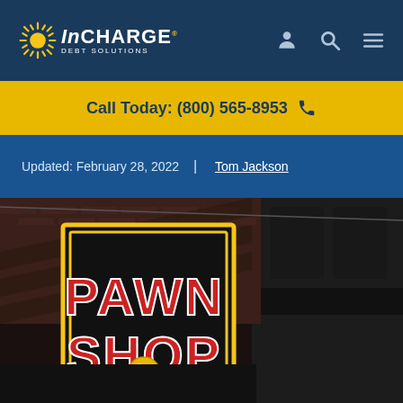InCharge Debt Solutions
Call Today: (800) 565-8953
Updated: February 28, 2022  |  Tom Jackson
[Figure (photo): Exterior photo of a pawn shop storefront with neon sign reading PAWN SHOP in red and white letters, with a three-ball pawnbroker symbol in red and yellow below the sign. Building facade is dark brick with dark awning.]